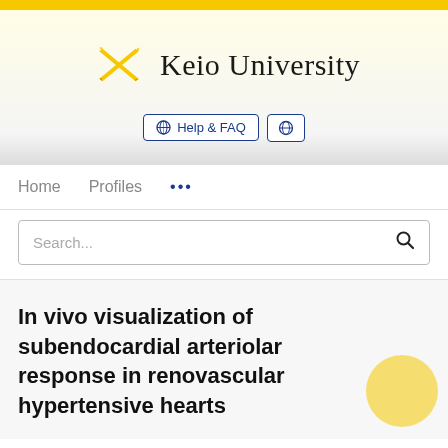[Figure (logo): Keio University logo: crossed quill pens in gold/yellow forming an X shape, with 'Keio University' text in serif font]
[Figure (screenshot): Navigation bar with Help & FAQ button and globe/language button]
Home   Profiles   ...
Search...
In vivo visualization of subendocardial arteriolar response in renovascular hypertensive hearts